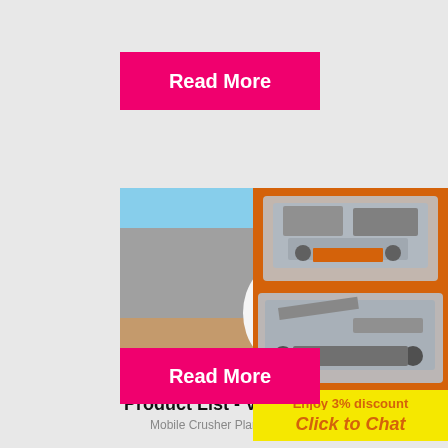Read More
[Figure (photo): Industrial workers wearing yellow hard hats at a mining/crushing facility, with industrial equipment and blue sky in background]
[Figure (screenshot): Live Chat popup overlay with 'LIVE CHAT' heading in red, subtitle 'Click for a Free Consultation', and two buttons: 'Chat now' (red) and 'Chat later' (dark)]
[Figure (photo): Orange panel on right side showing crushing/mining equipment machines]
Product List - Vipeak Group
Mobile Crusher Plants VK-1 Coarse Crus...
Enjoy 3% discount
Click to Chat
Enquiry
limingjlmofen@sina.com
Read More